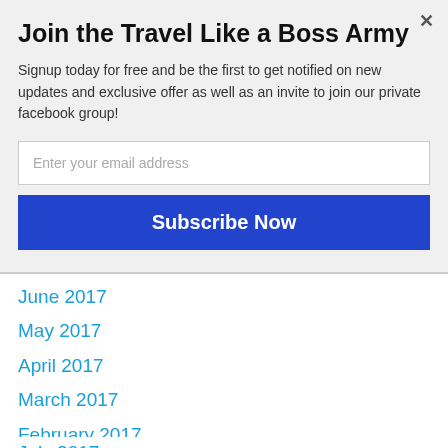Join the Travel Like a Boss Army
Signup today for free and be the first to get notified on new updates and exclusive offer as well as an invite to join our private facebook group!
July 2017
June 2017
May 2017
April 2017
March 2017
February 2017
January 2017
December 2016
November 2016
[Figure (infographic): Social sharing bar with Facebook, Twitter, Google+, Pinterest, Email, and crown icon buttons. Shows 1 Share count.]